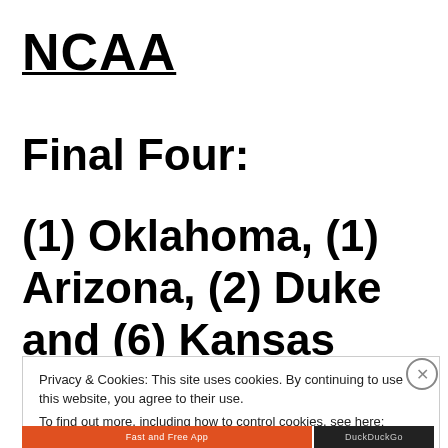NCAA
Final Four:
(1) Oklahoma, (1) Arizona, (2) Duke and (6) Kansas
Privacy & Cookies: This site uses cookies. By continuing to use this website, you agree to their use. To find out more, including how to control cookies, see here: Cookie Policy
Close and accept